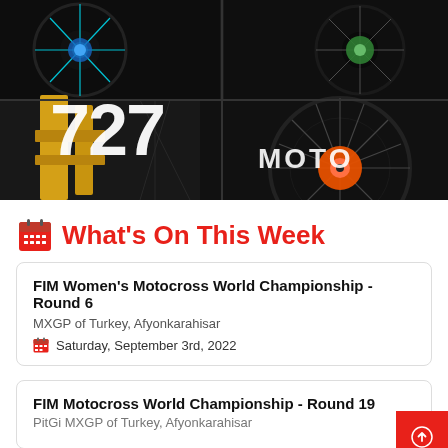[Figure (photo): 727 Moto advertisement showing colorful motocross wheels with blue, green, orange, and gold hubs against dark background. Large '727 MOTO' text overlaid in white.]
What's On This Week
FIM Women's Motocross World Championship - Round 6
MXGP of Turkey, Afyonkarahisar
Saturday, September 3rd, 2022
FIM Motocross World Championship - Round 19
PitG MXGP of Turkey, Afyonkarahisar